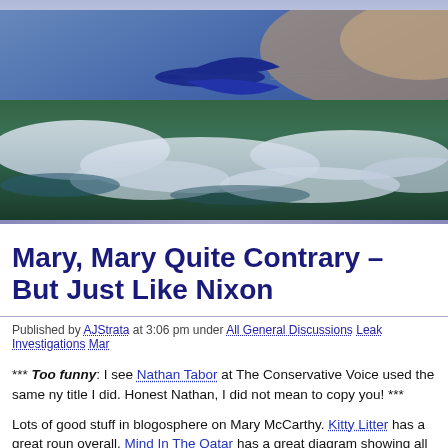[Figure (photo): Website header banner showing a blue bird/aircraft silhouette flying over Earth's surface with clouds, viewed from high altitude. Background has blue/purple gradient at top.]
Mary, Mary Quite Contrary – But Just Like Nixon
Published by AJStrata at 3:06 pm under All General Discussions Leak Investigations Mar
*** Too funny: I see Nathan Tabor at The Conservative Voice used the same ny title I did. Honest Nathan, I did not mean to copy you! ***
Lots of good stuff in blogosphere on Mary McCarthy. Kitty Litter has a great roun overall. Mind In The Qatar has a great diagram showing all the ties McCarthy h